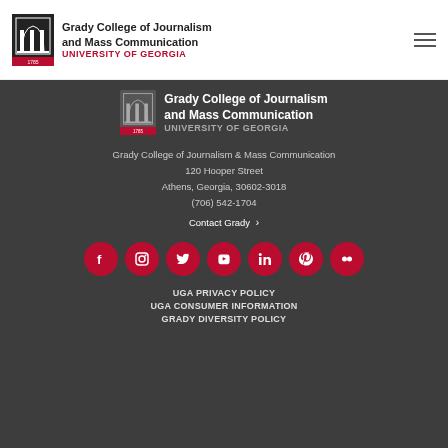[Figure (logo): Grady College of Journalism and Mass Communication, University of Georgia logo with building icon]
Grady College of Journalism and Mass Communication
UNIVERSITY OF GEORGIA
[Figure (logo): Grady College footer logo - white version with shield icon]
Grady College of Journalism & Mass Communication
120 Hooper Street
Athens, Georgia, 30602-3018
(706) 542-1704
Contact Grady
[Figure (infographic): Row of 7 red circular social media icons: Facebook, Instagram, Twitter, YouTube, LinkedIn, Pinterest, Flickr]
UGA PRIVACY POLICY
UGA CONSUMER INFORMATION
GRADY DIVERSITY POLICY